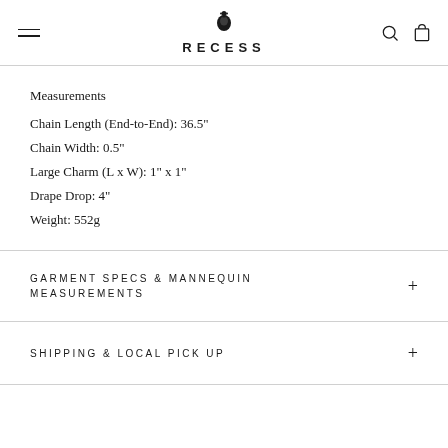RECESS
Measurements
Chain Length (End-to-End): 36.5"
Chain Width: 0.5"
Large Charm (L x W): 1" x 1"
Drape Drop: 4"
Weight: 552g
GARMENT SPECS & MANNEQUIN MEASUREMENTS
SHIPPING & LOCAL PICK UP